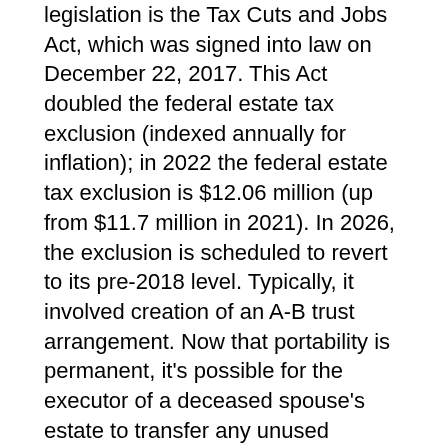legislation is the Tax Cuts and Jobs Act, which was signed into law on December 22, 2017. This Act doubled the federal estate tax exclusion (indexed annually for inflation); in 2022 the federal estate tax exclusion is $12.06 million (up from $11.7 million in 2021). In 2026, the exclusion is scheduled to revert to its pre-2018 level. Typically, it involved creation of an A-B trust arrangement. Now that portability is permanent, it's possible for the executor of a deceased spouse's estate to transfer any unused exclusion to the surviving spouse without creating a trust.
Even so, many states and the District of Columbia still have their own estate and/or inheritance taxes (Maryland has both), many have exclusions of less than the federal exclusion amount, and only two (Hawaii and Maryland) have portability provisions. By funding a bypass trust up to the